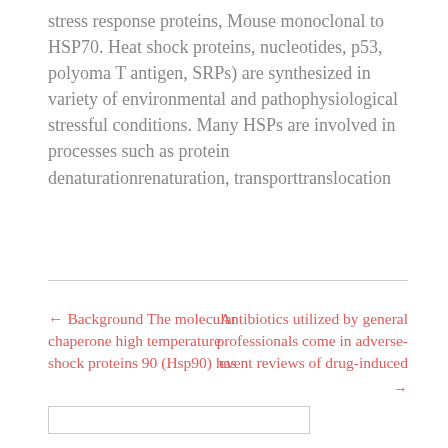stress response proteins, Mouse monoclonal to HSP70. Heat shock proteins, nucleotides, p53, polyoma T antigen, SRPs) are synthesized in variety of environmental and pathophysiological stressful conditions. Many HSPs are involved in processes such as protein denaturationrenaturation, transporttranslocation
← Background The molecular chaperone high temperature shock proteins 90 (Hsp90) has
Antibiotics utilized by general professionals come in adverse-event reviews of drug-induced →